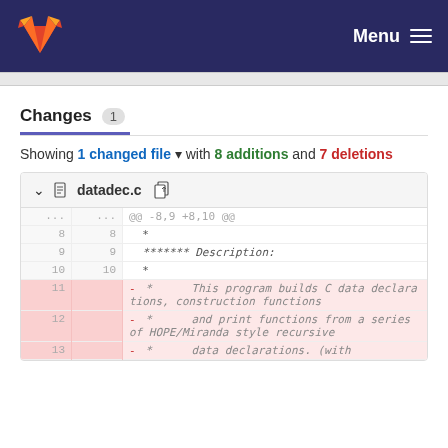Menu
Changes 1
Showing 1 changed file with 8 additions and 7 deletions
| old | new | content |
| --- | --- | --- |
| ... | ... | @@ -8,9 +8,10 @@ |
| 8 | 8 |   * |
| 9 | 9 |   ******* Description: |
| 10 | 10 |   * |
| 11 |  | -   *      This program builds C data declarations, construction functions |
| 12 |  | -   *      and print functions from a series of HOPE/Miranda style recursive |
| 13 |  | -   *      data declarations. (with |